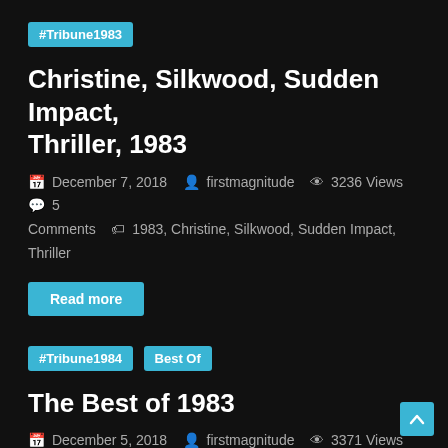#Tribune1983
Christine, Silkwood, Sudden Impact, Thriller, 1983
December 7, 2018  firstmagnitude  3236 Views  5 Comments  1983, Christine, Silkwood, Sudden Impact, Thriller
Read more
#Tribune1984   Best Of
The Best of 1983
December 5, 2018  firstmagnitude  3371 Views  3 Comments  1984, Betrayal, El Norte, Fanny & Alexander, Pauline at the Beach, Risky Business, Say Amen Somebody, Silkwood, Star 80, Terms of Endearment, Testament, The Big Chill, The Return of Martin Guerre, The Right Stuff, The Year of Living Dangerously